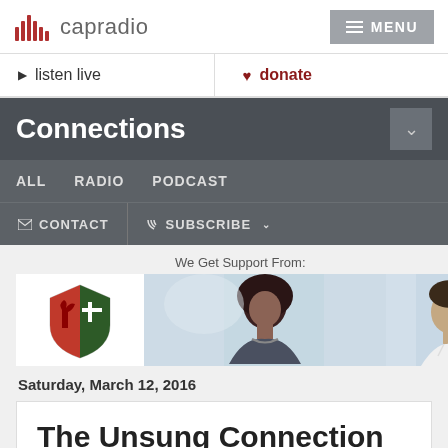[Figure (logo): CapRadio logo with bar chart icon and wordmark]
MENU
▶ listen live
♥ donate
Connections
ALL   RADIO   PODCAST
✉ CONTACT   ⌘ SUBSCRIBE ∨
We Get Support From:
[Figure (logo): Shield logo with red and green design]
[Figure (photo): Young Black woman looking down]
[Figure (photo): Young man in white shirt]
Saturday, March 12, 2016
The Unsung Connection